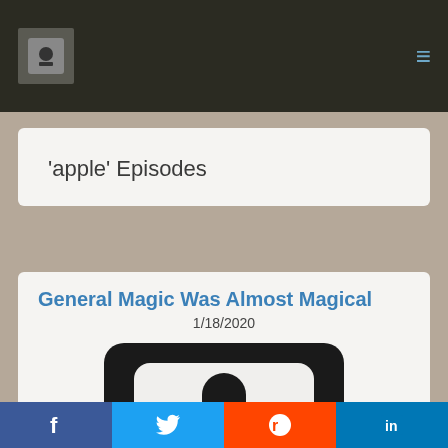Navigation bar with logo and menu icon
'apple' Episodes
General Magic Was Almost Magical
1/18/2020
[Figure (illustration): Podcast microphone icon — white microphone on black rounded rectangle background]
Social share buttons: Facebook, Twitter, Reddit, LinkedIn